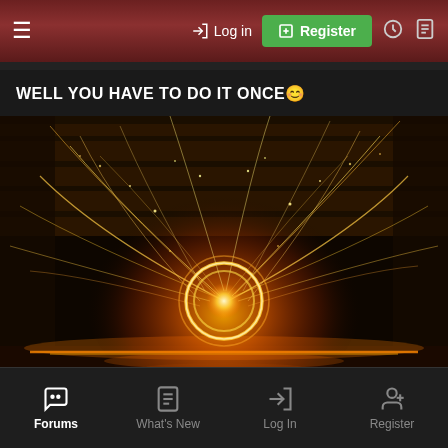≡  → Log in  ⊞ Register
WELL YOU HAVE TO DO IT ONCE 🙂
[Figure (photo): Long exposure steel wool spinning photography in a dark industrial space, creating a circle of light with golden sparks flying outward like a fireworks display, reflected on the wet ground below.]
Forums  What's New  Log In  Register